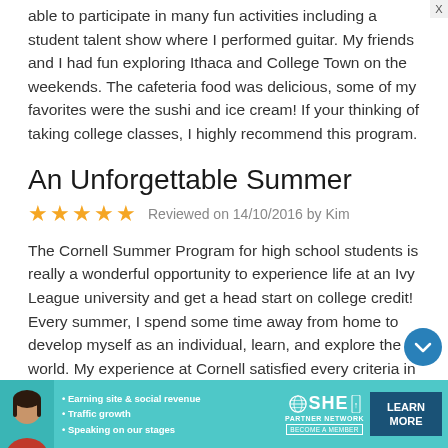able to participate in many fun activities including a student talent show where I performed guitar. My friends and I had fun exploring Ithaca and College Town on the weekends. The cafeteria food was delicious, some of my favorites were the sushi and ice cream! If your thinking of taking college classes, I highly recommend this program.
An Unforgettable Summer
★★★★★ Reviewed on 14/10/2016 by Kim
The Cornell Summer Program for high school students is really a wonderful opportunity to experience life at an Ivy League university and get a head start on college credit! Every summer, I spend some time away from home to develop myself as an individual, learn, and explore the world. My experience at Cornell satisfied every criteria in that last statement.
[Figure (infographic): SHE Partner Network advertisement banner with bullet points: Earning site & social revenue, Traffic growth, Speaking on our stages. Includes woman photo, SHE logo with globe, LEARN MORE button, and X close button.]